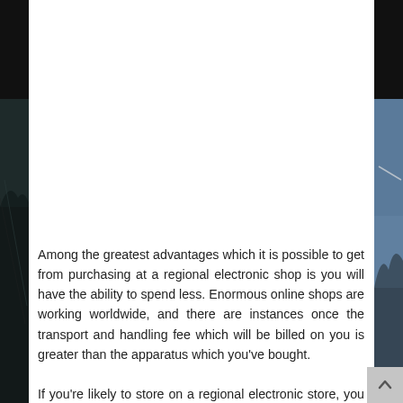[Figure (photo): Dark background photo strips on left and right sides of the page, suggesting an outdoor/mountain scene with blue sky visible on the right strip.]
Among the greatest advantages which it is possible to get from purchasing at a regional electronic shop is you will have the ability to spend less. Enormous online shops are working worldwide, and there are instances once the transport and handling fee which will be billed on you is greater than the apparatus which you've bought.
If you're likely to store on a regional electronic store, you do